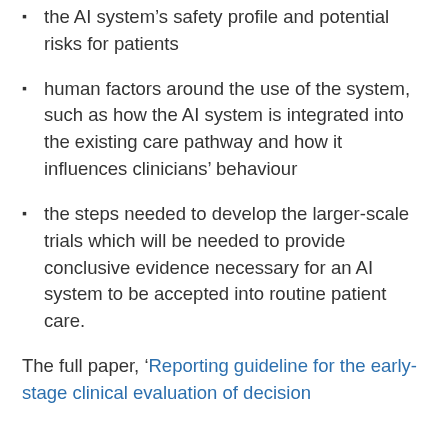the AI system's safety profile and potential risks for patients
human factors around the use of the system, such as how the AI system is integrated into the existing care pathway and how it influences clinicians' behaviour
the steps needed to develop the larger-scale trials which will be needed to provide conclusive evidence necessary for an AI system to be accepted into routine patient care.
The full paper, 'Reporting guideline for the early-stage clinical evaluation of decision